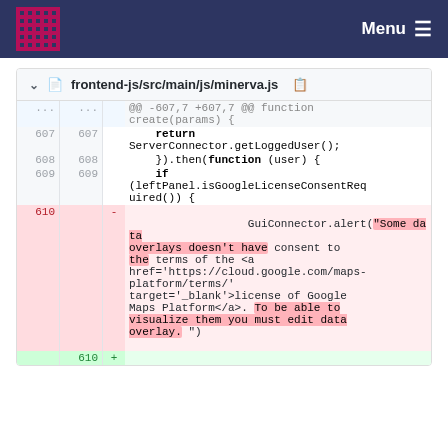Menu
frontend-js/src/main/js/minerva.js
@@ -607,7 +607,7 @@ function create(params) {
    return ServerConnector.getLoggedUser();
    }).then(function (user) {
    if (leftPanel.isGoogleLicenseConsentRequired()) {
610 - GuiConnector.alert("Some data overlays doesn't have consent to the terms of the <a href='https://cloud.google.com/maps-platform/terms/' target='_blank'>license of Google Maps Platform</a>. To be able to visualize them you must edit data overlay. ")
610 +